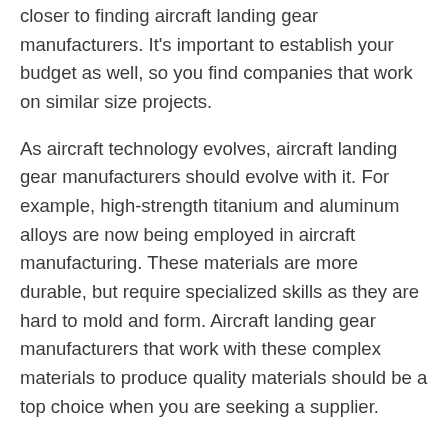closer to finding aircraft landing gear manufacturers. It's important to establish your budget as well, so you find companies that work on similar size projects.
As aircraft technology evolves, aircraft landing gear manufacturers should evolve with it. For example, high-strength titanium and aluminum alloys are now being employed in aircraft manufacturing. These materials are more durable, but require specialized skills as they are hard to mold and form. Aircraft landing gear manufacturers that work with these complex materials to produce quality materials should be a top choice when you are seeking a supplier.